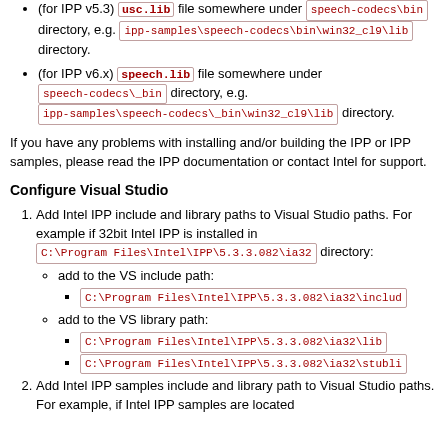(for IPP v5.3) usc.lib file somewhere under speech-codecs\bin directory, e.g. ipp-samples\speech-codecs\bin\win32_cl9\lib directory.
(for IPP v6.x) speech.lib file somewhere under speech-codecs\_bin directory, e.g. ipp-samples\speech-codecs\_bin\win32_cl9\lib directory.
If you have any problems with installing and/or building the IPP or IPP samples, please read the IPP documentation or contact Intel for support.
Configure Visual Studio
Add Intel IPP include and library paths to Visual Studio paths. For example if 32bit Intel IPP is installed in C:\Program Files\Intel\IPP\5.3.3.082\ia32 directory: add to the VS include path: C:\Program Files\Intel\IPP\5.3.3.082\ia32\include; add to the VS library path: C:\Program Files\Intel\IPP\5.3.3.082\ia32\lib; C:\Program Files\Intel\IPP\5.3.3.082\ia32\stublib
Add Intel IPP samples include and library path to Visual Studio paths. For example, if Intel IPP samples are located